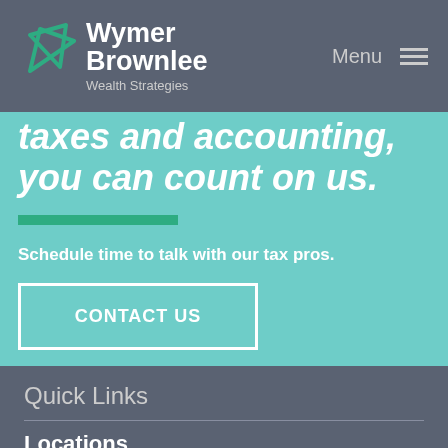Wymer Brownlee Wealth Strategies | Menu
taxes and accounting, you can count on us.
Schedule time to talk with our tax pros.
CONTACT US
Quick Links
Locations